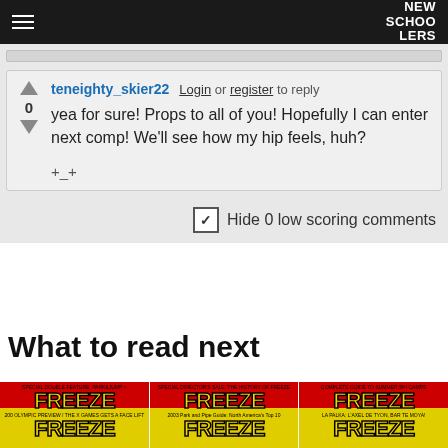NEW SCHOOLERS
teneighty_skier22   Login or register to reply
0
yea for sure! Props to all of you! Hopefully I can enter next comp! We'll see how my hip feels, huh?
+_+
✔ Hide 0 low scoring comments
What to read next
[Figure (photo): Six magazine covers showing FREEZE magazine with bold yellow text on red background, arranged in a 2-row 3-column grid]